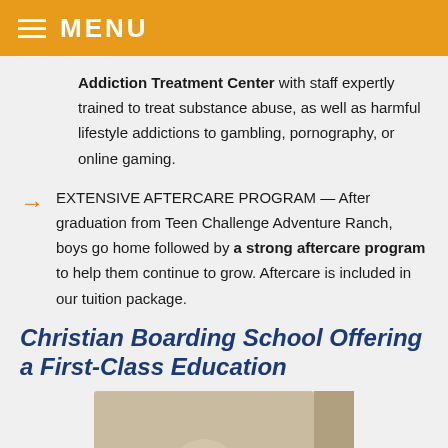MENU
Addiction Treatment Center with staff expertly trained to treat substance abuse, as well as harmful lifestyle addictions to gambling, pornography, or online gaming.
EXTENSIVE AFTERCARE PROGRAM — After graduation from Teen Challenge Adventure Ranch, boys go home followed by a strong aftercare program to help them continue to grow. Aftercare is included in our tuition package.
Christian Boarding School Offering a First-Class Education
[Figure (photo): Partial photo of a person, cropped at bottom of page]